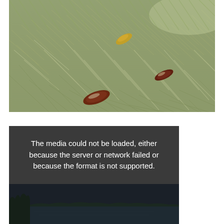[Figure (photo): Close-up aerial or underwater view of seagrass meadow with sunlight filtering through shallow water. Two reddish-brown fish or marine animals are visible among the green-gray seagrass blades.]
[Figure (photo): Video player showing error message: 'The media could not be loaded, either because the server or network failed or because the format is not supported.' Below the error text, a dark nighttime or twilight coastal/water scene is partially visible with a silhouette of mangroves or shoreline.]